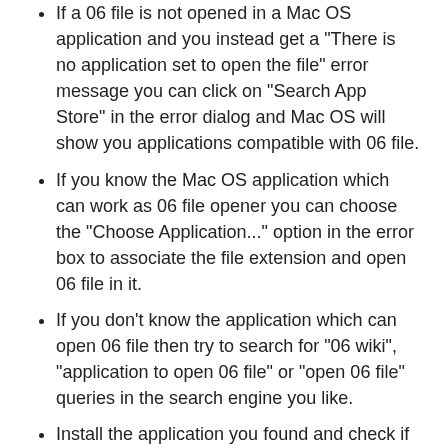If a 06 file is not opened in a Mac OS application and you instead get a "There is no application set to open the file" error message you can click on "Search App Store" in the error dialog and Mac OS will show you applications compatible with 06 file.
If you know the Mac OS application which can work as 06 file opener you can choose the "Choose Application..." option in the error box to associate the file extension and open 06 file in it.
If you don't know the application which can open 06 file then try to search for "06 wiki", "application to open 06 file" or "open 06 file" queries in the search engine you like.
Install the application you found and check if it can open 06 file
Open 06 File on Android
If you downloaded a 06 file on Android device you can